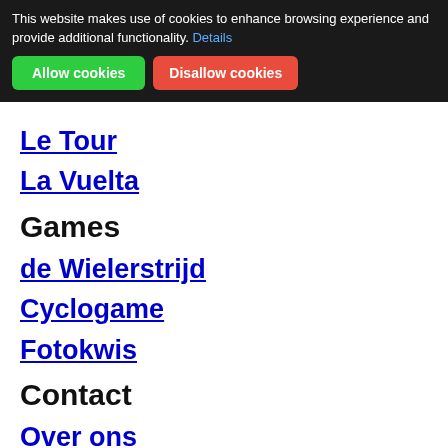This website makes use of cookies to enhance browsing experience and provide additional functionality. Details
Allow cookies | Disallow cookies
het Wielerpaspoort
Condoleanceregister
Le Tour
La Vuelta
Games
de Wielerstrijd
Cyclogame
Fotokwis
Contact
Over ons
Contact